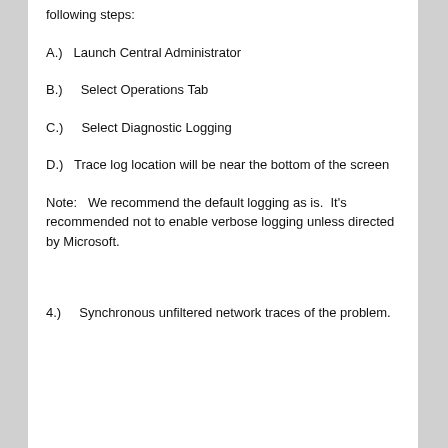following steps:
A.)   Launch Central Administrator
B.)    Select Operations Tab
C.)    Select Diagnostic Logging
D.)   Trace log location will be near the bottom of the screen
Note:   We recommend the default logging as is.  It's recommended not to enable verbose logging unless directed by Microsoft.
4.)    Synchronous unfiltered network traces of the problem.